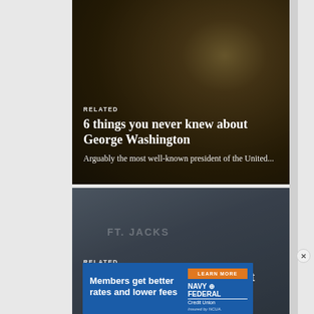[Figure (photo): Historical painting of George Washington's inauguration or similar formal scene in a grand hall with chandeliers and American flag, dark toned image with overlay text]
RELATED
6 things you never knew about George Washington
Arguably the most well-known president of the United...
[Figure (photo): Photo of Fort Jackson military base entrance sign under overcast sky]
RELATED
The complete post guide to Fort Jackson
[Figure (infographic): Navy Federal Credit Union advertisement banner on blue background. Text: Members get better rates and lower fees. Button: LEARN MORE. Logo: NAVY FEDERAL Credit Union. Insured by NCUA.]